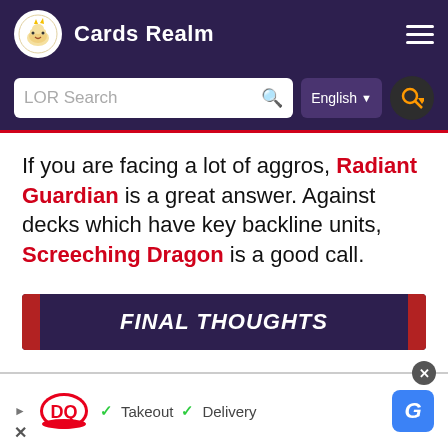Cards Realm
If you are facing a lot of aggros, Radiant Guardian is a great answer. Against decks which have key backline units, Screeching Dragon is a good call.
FINAL THOUGHTS
[Figure (other): DQ (Dairy Queen) advertisement banner with Takeout and Delivery checkmarks and a blue G button]